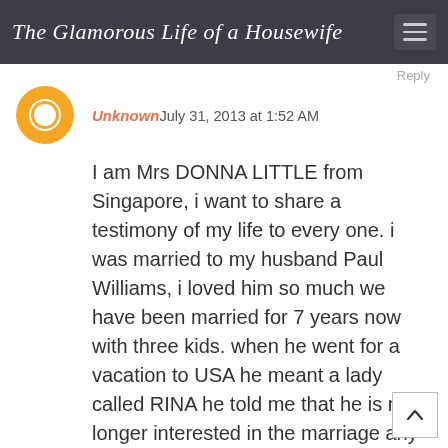The Glamorous Life of a Housewife
Reply
Unknown July 31, 2013 at 1:52 AM
I am Mrs DONNA LITTLE from Singapore, i want to share a testimony of my life to every one. i was married to my husband Paul Williams, i loved him so much we have been married for 7 years now with three kids. when he went for a vacation to USA he meant a lady called RINA he told me that he is no longer interested in the marriage any more. i was so confuse and seeking for help, i don't know what to do